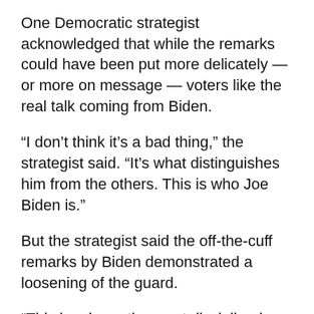One Democratic strategist acknowledged that while the remarks could have been put more delicately — or more on message — voters like the real talk coming from Biden.
“I don’t think it’s a bad thing,” the strategist said. “It’s what distinguishes him from the others. This is who Joe Biden is.”
But the strategist said the off-the-cuff remarks by Biden demonstrated a loosening of the guard.
“This has been the most disciplined White House operation I’ve seen in a long time, and I think that’s starting to break a bit. This is